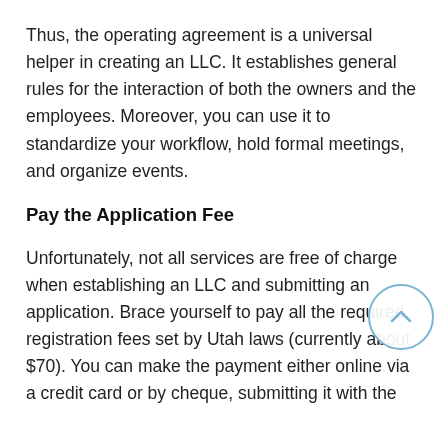Thus, the operating agreement is a universal helper in creating an LLC. It establishes general rules for the interaction of both the owners and the employees. Moreover, you can use it to standardize your workflow, hold formal meetings, and organize events.
Pay the Application Fee
Unfortunately, not all services are free of charge when establishing an LLC and submitting an application. Brace yourself to pay all the required registration fees set by Utah laws (currently about $70). You can make the payment either online via a credit card or by cheque, submitting it with the